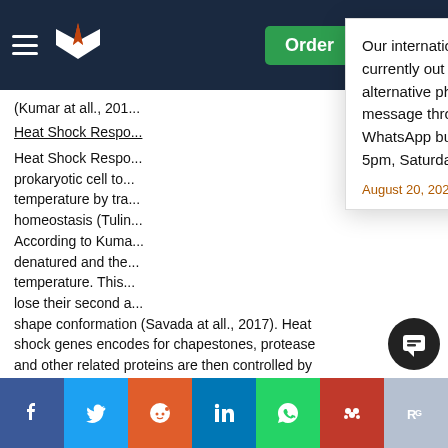Navigation bar with hamburger menu, logo, Order button, notification bell, and user icon
(Kumar at all., 201...
Heat Shock Respo...
Heat Shock Respo... prokaryotic cell to ... temperature by tra... homeostasis (Tulin... According to Kuma... denatured and the... temperature. This ... lose their second a... shape conformation (Savada at all., 2017). Heat shock genes encodes for chapestones, protease and other related proteins are then controlled by rpoH and its product 32 (Roy at all., 2012). At normal condition, the level of 32 d...e...w...e...g...s
Our international phone number (+971 600 575 297) is currently out of service. Whilst we fix this, please use the alternative phone numbers provided on the contact page, message through your customer account or click the WhatsApp button from your mobile (Monday – Friday 9am – 5pm, Saturday 10am – 6pm UK time).
August 20, 2022
Social share buttons: Facebook, Twitter, Reddit, LinkedIn, WhatsApp, Mendeley, ResearchGate